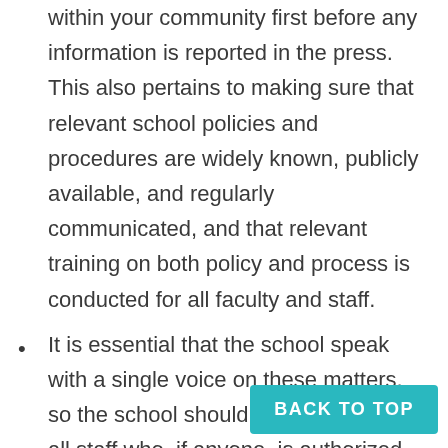within your community first before any information is reported in the press. This also pertains to making sure that relevant school policies and procedures are widely known, publicly available, and regularly communicated, and that relevant training on both policy and process is conducted for all faculty and staff.
It is essential that the school speak with a single voice on these matters, so the school should make it clear to all staff who, if anyone, is authorized externally. If different people